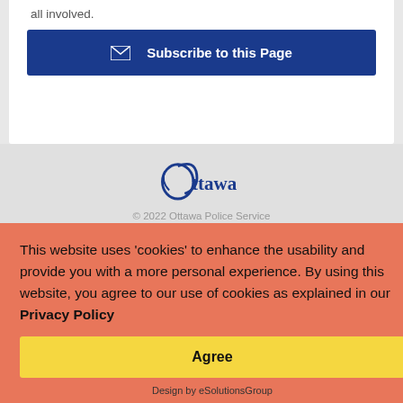all involved.
Subscribe to this Page
[Figure (logo): Ottawa city logo with stylized swirl and 'Ottawa' wordmark]
© 2022 Ottawa Police Service
Policy and Privacy  Sitemap  Contact Us
Feedback
Ottawa Police Service PO Box 9004 Station T,
K1G 6H5, T: 613-236-1222, TTY
service for the deaf, deafened and hard of hearing:
613-232-1123
This website uses 'cookies' to enhance the usability and provide you with a more personal experience. By using this website, you agree to our use of cookies as explained in our Privacy Policy
Agree
Design by eSolutionsGroup